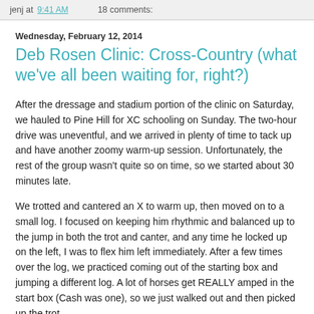jenj at 9:41 AM    18 comments:
Wednesday, February 12, 2014
Deb Rosen Clinic: Cross-Country (what we've all been waiting for, right?)
After the dressage and stadium portion of the clinic on Saturday, we hauled to Pine Hill for XC schooling on Sunday. The two-hour drive was uneventful, and we arrived in plenty of time to tack up and have another zoomy warm-up session. Unfortunately, the rest of the group wasn't quite so on time, so we started about 30 minutes late.
We trotted and cantered an X to warm up, then moved on to a small log. I focused on keeping him rhythmic and balanced up to the jump in both the trot and canter, and any time he locked up on the left, I was to flex him left immediately. After a few times over the log, we practiced coming out of the starting box and jumping a different log. A lot of horses get REALLY amped in the start box (Cash was one), so we just walked out and then picked up the trot.